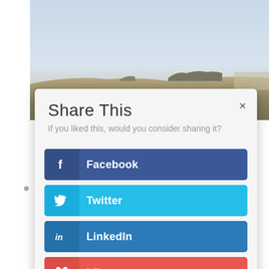[Figure (photo): Landscape photo of open moorland/heath with rocks under an overcast pale blue-grey sky. Greenish-brown terrain with distant rocky outcrops.]
Share This
If you liked this, would you consider sharing it?
Facebook
Twitter
LinkedIn
Like